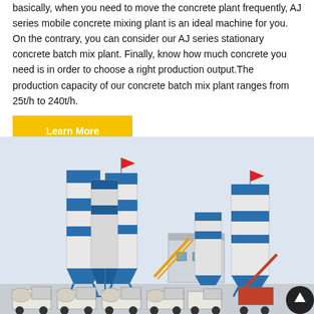basically, when you need to move the concrete plant frequently, AJ series mobile concrete mixing plant is an ideal machine for you. On the contrary, you can consider our AJ series stationary concrete batch mix plant. Finally, know how much concrete you need is in order to choose a right production output.The production capacity of our concrete batch mix plant ranges from 25t/h to 240t/h.
Learn More
[Figure (photo): Large industrial concrete batching plant with multiple tall white and blue cylindrical silos, a central control building, yellow and blue structural supports, and a row of concrete mixer trucks parked in front. Two red flags are visible on top of the silos.]